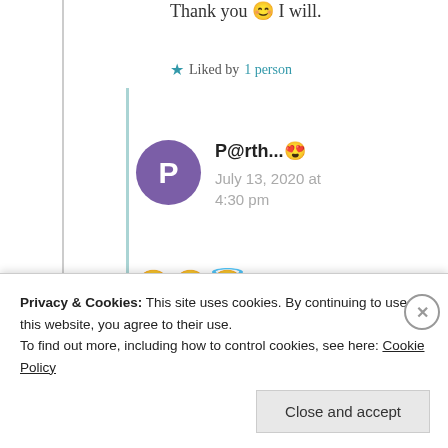Thank you 😊 I will.
★ Liked by 1 person
P@rth...😊
July 13, 2020 at 4:30 pm
😊🤗😇
★ Liked by 1 person
Privacy & Cookies: This site uses cookies. By continuing to use this website, you agree to their use. To find out more, including how to control cookies, see here: Cookie Policy
Close and accept